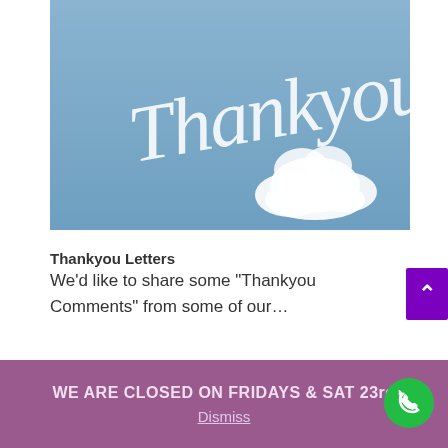[Figure (photo): Photo of a blue sky with cursive white text reading 'Thankyou' written in what appears to be skywriting or clouds, with a white cloud shape beneath the text.]
Thankyou Letters
We’d like to share some “Thankyou Comments” from some of our…
WE ARE CLOSED ON FRIDAYS & SAT 23rd
Dismiss